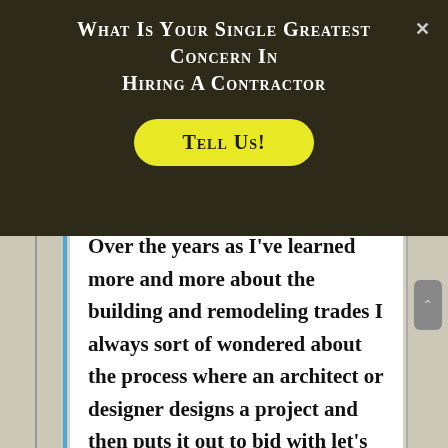What Is Your Single Greatest Concern In Hiring A Contractor
Tell Us!
Over the years as I've learned more and more about the building and remodeling trades I always sort of wondered about the process where an architect or designer designs a project and then puts it out to bid with let's say three or more contractors for a client. To me that always seemed the equivalent of shooting an arrow and then drawing the target around where it hit. Many times the project would then